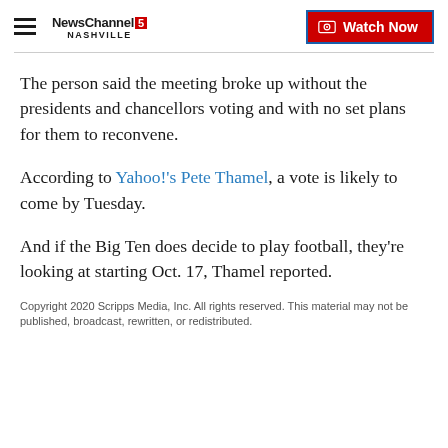NewsChannel 5 Nashville | Watch Now
The person said the meeting broke up without the presidents and chancellors voting and with no set plans for them to reconvene.
According to Yahoo!'s Pete Thamel, a vote is likely to come by Tuesday.
And if the Big Ten does decide to play football, they're looking at starting Oct. 17, Thamel reported.
Copyright 2020 Scripps Media, Inc. All rights reserved. This material may not be published, broadcast, rewritten, or redistributed.